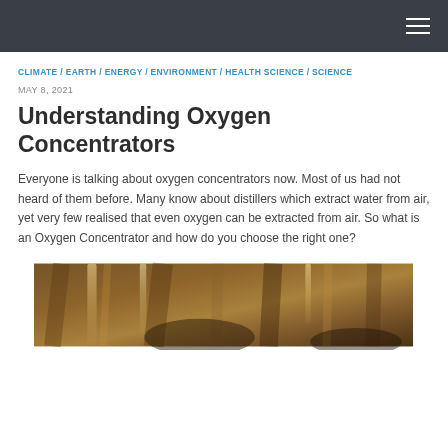≡
CLIMATE / EARTH / ENERGY / ENVIRONMENT / HEALTH SCIENCE / SCIENCE
MAY 8, 2021
Understanding Oxygen Concentrators
Everyone is talking about oxygen concentrators now. Most of us had not heard of them before. Many know about distillers which extract water from air, yet very few realised that even oxygen can be extracted from air. So what is an Oxygen Concentrator and how do you choose the right one?
[Figure (photo): A photograph showing what appears to be rocky or cave-like formations with warm brown and amber tones, with some light streaks visible.]